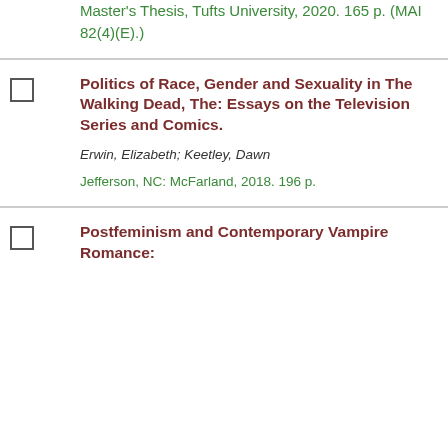Master's Thesis, Tufts University, 2020. 165 p. (MAI 82(4)(E).)
Politics of Race, Gender and Sexuality in The Walking Dead, The: Essays on the Television Series and Comics.
Erwin, Elizabeth; Keetley, Dawn
Jefferson, NC: McFarland, 2018. 196 p.
Postfeminism and Contemporary Vampire Romance: